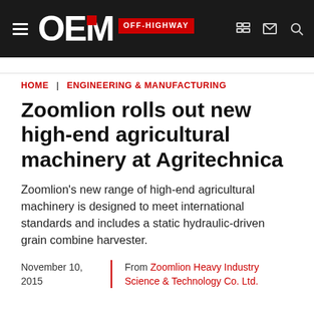OEM OFF-HIGHWAY
HOME | ENGINEERING & MANUFACTURING
Zoomlion rolls out new high-end agricultural machinery at Agritechnica
Zoomlion's new range of high-end agricultural machinery is designed to meet international standards and includes a static hydraulic-driven grain combine harvester.
November 10, 2015 From Zoomlion Heavy Industry Science & Technology Co. Ltd.